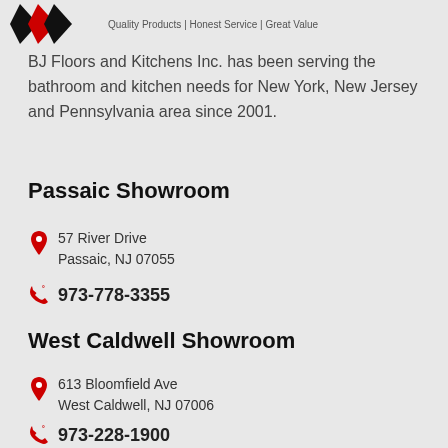[Figure (logo): BJ Floors and Kitchens Inc. logo with diamond shapes in black and red, tagline: Quality Products | Honest Service | Great Value]
BJ Floors and Kitchens Inc. has been serving the bathroom and kitchen needs for New York, New Jersey and Pennsylvania area since 2001.
Passaic Showroom
57 River Drive
Passaic, NJ 07055
973-778-3355
West Caldwell Showroom
613 Bloomfield Ave
West Caldwell, NJ 07006
973-228-1900